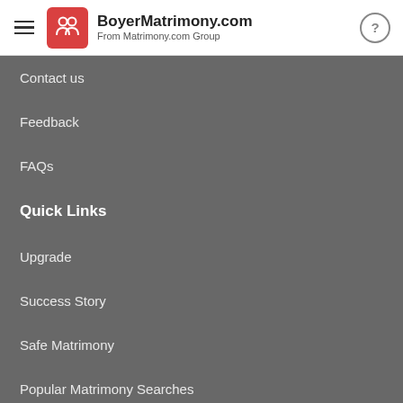BoyerMatrimony.com From Matrimony.com Group
Contact us
Feedback
FAQs
Quick Links
Upgrade
Success Story
Safe Matrimony
Popular Matrimony Searches
Terms and Conditions